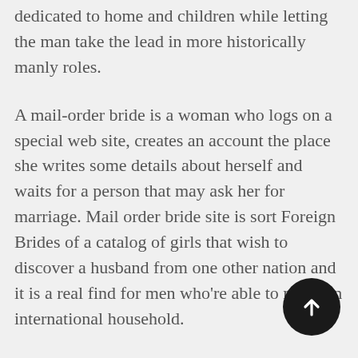dedicated to home and children while letting the man take the lead in more historically manly roles.
A mail-order bride is a woman who logs on a special web site, creates an account the place she writes some details about herself and waits for a person that may ask her for marriage. Mail order bride site is sort Foreign Brides of a catalog of girls that wish to discover a husband from one other nation and it is a real find for men who're able to make an international household.
Find out how to get a foreign girl to fall for you? Properly, some single ladies would be joyful to be in relationships with Western men and suppose these guys to be very enticing. Trying to find a partner overseas, they go to